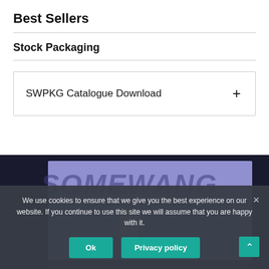Best Sellers
Stock Packaging
SWPKG Catalogue Download
[Figure (screenshot): Product image with SOMEWANG text overlaid on purple/dark background with bottle product]
We use cookies to ensure that we give you the best experience on our website. If you continue to use this site we will assume that you are happy with it.
Ok
Privacy policy